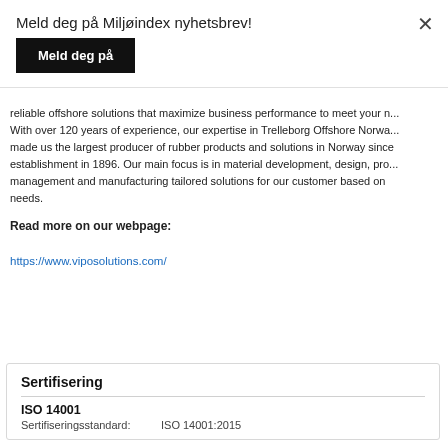Meld deg på Miljøindex nyhetsbrev!
Meld deg på
reliable offshore solutions that maximize business performance to meet your needs. With over 120 years of experience, our expertise in Trelleborg Offshore Norway made us the largest producer of rubber products and solutions in Norway since establishment in 1896. Our main focus is in material development, design, project management and manufacturing tailored solutions for our customer based on their needs.
Read more on our webpage:
https://www.viposolutions.com/
Sertifisering
ISO 14001
Sertifiseringsstandard: ISO 14001:2015